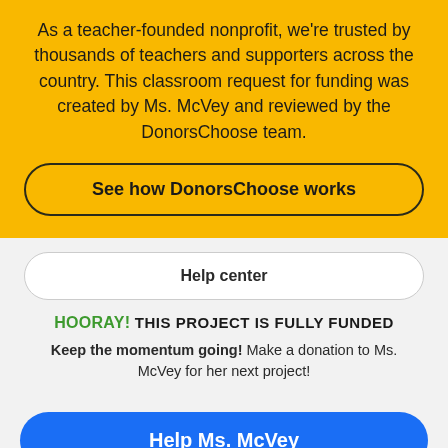As a teacher-founded nonprofit, we're trusted by thousands of teachers and supporters across the country. This classroom request for funding was created by Ms. McVey and reviewed by the DonorsChoose team.
See how DonorsChoose works
Help center
HOORAY! THIS PROJECT IS FULLY FUNDED
Keep the momentum going! Make a donation to Ms. McVey for her next project!
Help Ms. McVey